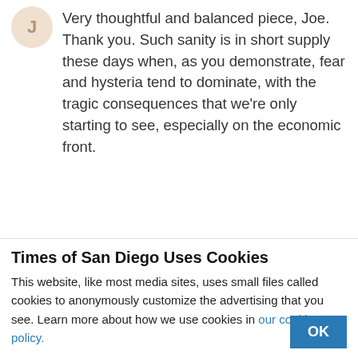Very thoughtful and balanced piece, Joe. Thank you. Such sanity is in short supply these days when, as you demonstrate, fear and hysteria tend to dominate, with the tragic consequences that we're only starting to see, especially on the economic front.
👍 1  👎  Share  Reply  🏳  ···
⊞ Add Vuukle  🔒 Privacy   v Vuukle
Times of San Diego Uses Cookies
This website, like most media sites, uses small files called cookies to anonymously customize the advertising that you see. Learn more about how we use cookies in our cookie policy.